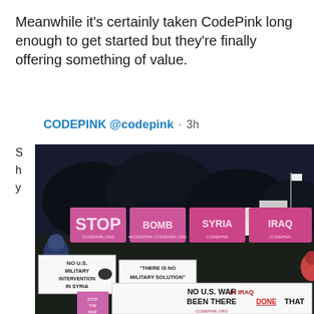Meanwhile it's certainly taken CodePink long enough to get started but they're finally offering something of value.
CODEPINK @codepink · 3h
S... h... y...
[Figure (photo): Night protest photo outside the White House with CodePink protesters holding signs: 'STOP', 'NO U.S. MILITARY INTERVENTION IN SYRIA', 'THERE IS NO MILITARY SOLUTION', 'NO U.S. WAR IN IRAQ BEEN THERE DONE THAT', and pink illuminated banners with CODEPINK branding.]